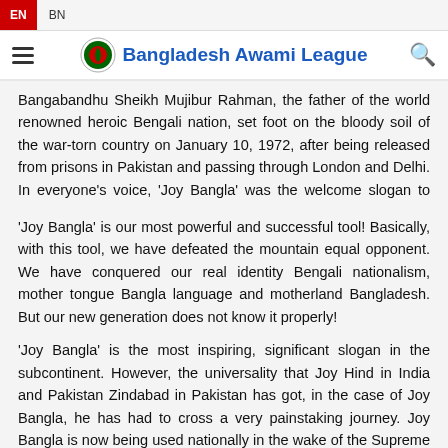EN  BN
Bangladesh Awami League
Bangabandhu Sheikh Mujibur Rahman, the father of the world renowned heroic Bengali nation, set foot on the bloody soil of the war-torn country on January 10, 1972, after being released from prisons in Pakistan and passing through London and Delhi. In everyone's voice, 'Joy Bangla' was the welcome slogan to welcome the beloved leader.
'Joy Bangla' is our most powerful and successful tool! Basically, with this tool, we have defeated the mountain equal opponent. We have conquered our real identity Bengali nationalism, mother tongue Bangla language and motherland Bangladesh. But our new generation does not know it properly!
'Joy Bangla' is the most inspiring, significant slogan in the subcontinent. However, the universality that Joy Hind in India and Pakistan Zindabad in Pakistan has got, in the case of Joy Bangla, he has had to cross a very painstaking journey. Joy Bangla is now being used nationally in the wake of the Supreme Court verdict. Joy Bangla has come here today after going through many ups and